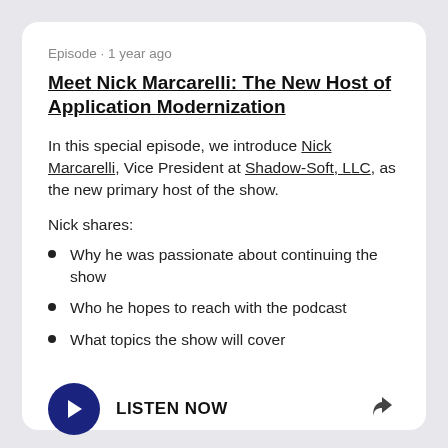Episode · 1 year ago
Meet Nick Marcarelli: The New Host of Application Modernization
In this special episode, we introduce Nick Marcarelli, Vice President at Shadow-Soft, LLC, as the new primary host of the show.
Nick shares:
Why he was passionate about continuing the show
Who he hopes to reach with the podcast
What topics the show will cover
LISTEN NOW